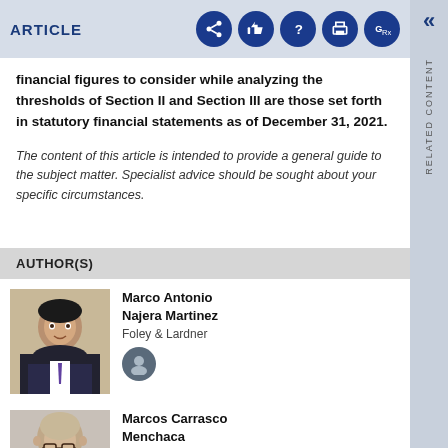ARTICLE
financial figures to consider while analyzing the thresholds of Section II and Section III are those set forth in statutory financial statements as of December 31, 2021.
The content of this article is intended to provide a general guide to the subject matter. Specialist advice should be sought about your specific circumstances.
AUTHOR(S)
Marco Antonio Najera Martinez
Foley & Lardner
Marcos Carrasco Menchaca
Foley & Lardner